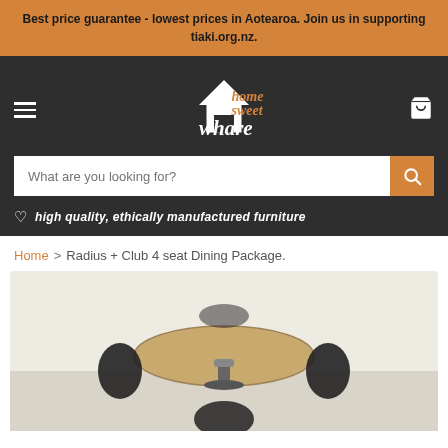Best price guarantee - lowest prices in Aotearoa. Join us in supporting tiaki.org.nz.
[Figure (logo): Home Sweet Whare logo with house icon and stylized serif text]
high quality, ethically manufactured furniture
Home > Radius + Club 4 seat Dining Package.
[Figure (photo): Dining table and chairs product photo showing round wooden table with black chairs, top of furniture visible from slight overhead angle]